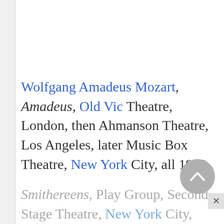Wolfgang Amadeus Mozart, Amadeus, Old Vic Theatre, London, then Ahmanson Theatre, Los Angeles, later Music Box Theatre, New York City, all 1999.
Smithereens, Play Group, Second Stage Theatre, New York City, 2000.